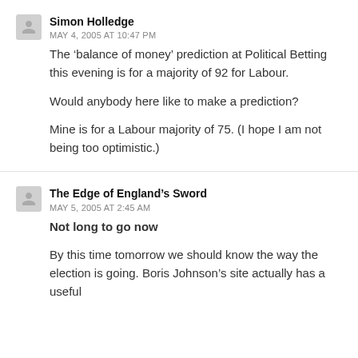Simon Holledge
MAY 4, 2005 AT 10:47 PM
The ‘balance of money’ prediction at Political Betting this evening is for a majority of 92 for Labour.

Would anybody here like to make a prediction?

Mine is for a Labour majority of 75. (I hope I am not being too optimistic.)
The Edge of England’s Sword
MAY 5, 2005 AT 2:45 AM
Not long to go now
By this time tomorrow we should know the way the election is going. Boris Johnson’s site actually has a useful